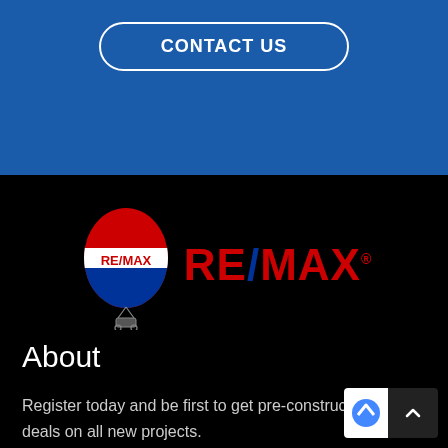CONTACT US
[Figure (logo): RE/MAX hot air balloon logo with wordmark RE/MAX]
About
Register today and be first to get pre-construction deals on all new projects.